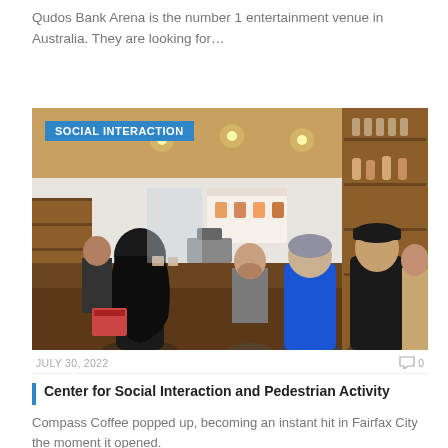Qudos Bank Arena is the number 1 entertainment venue in Australia. They are looking for…
[Figure (photo): People standing at a coffee shop counter; a barista serves customers. A blue label reads 'SOCIAL INTERACTION' in the top-left corner.]
JULY 30, 2022
0
Center for Social Interaction and Pedestrian Activity
Compass Coffee popped up, becoming an instant hit in Fairfax City the moment it opened.